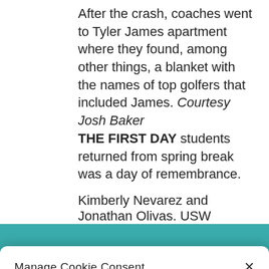After the crash, coaches went to Tyler James apartment where they found, among other things, a blanket with the names of top golfers that included James. Courtesy Josh Baker
THE FIRST DAY students returned from spring break was a day of remembrance.
Kimberly Nevarez and Jonathan Olivas. USW
Manage Cookie Consent
To provide the best experiences, we use technologies like cookies to store and/or access device information. Consenting to these technologies will allow us to process data such as browsing behavior or unique IDs on this site. Not consenting or withdrawing consent, may adversely affect certain features and functions.
ACCEPT
Privacy Policy